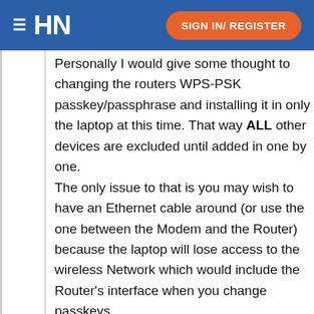HN  SIGN IN/ REGISTER
Personally I would give some thought to changing the routers WPS-PSK passkey/passphrase and installing it in only the laptop at this time. That way ALL other devices are excluded until added in one by one.
The only issue to that is you may wish to have an Ethernet cable around (or use the one between the Modem and the Router) because the laptop will lose access to the wireless Network which would include the Router's interface when you change passkeys.
On to GlassWire: